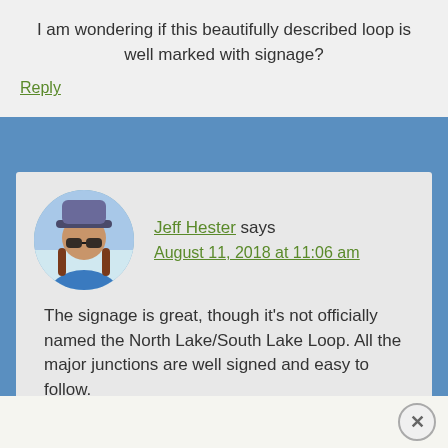I am wondering if this beautifully described loop is well marked with signage?
Reply
Jeff Hester says
August 11, 2018 at 11:06 am
[Figure (photo): Profile photo of Jeff Hester, a person wearing sunglasses and a hat, in a blue jacket outdoors in winter]
The signage is great, though it's not officially named the North Lake/South Lake Loop. All the major junctions are well signed and easy to follow.
Reply